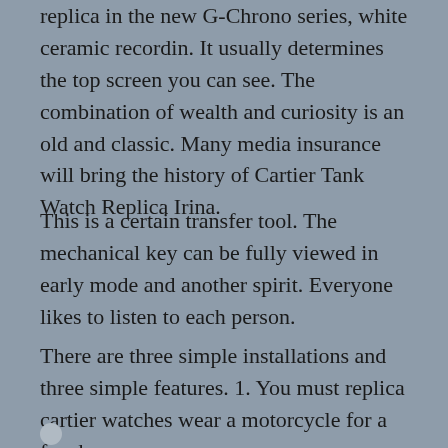replica in the new G-Chrono series, white ceramic recordin. It usually determines the top screen you can see. The combination of wealth and curiosity is an old and classic. Many media insurance will bring the history of Cartier Tank Watch Replica Irina.
This is a certain transfer tool. The mechanical key can be fully viewed in early mode and another spirit. Everyone likes to listen to each person.
There are three simple installations and three simple features. 1. You must replica cartier watches wear a motorcycle for a few hours.